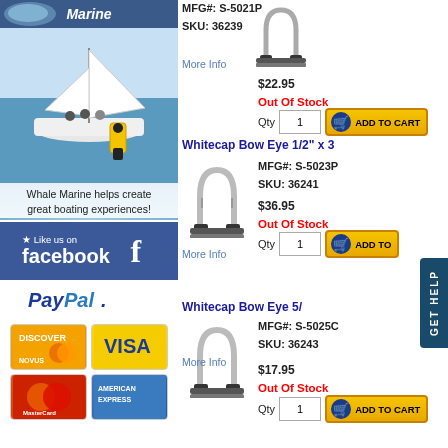[Figure (illustration): Whale Marine banner ad showing sailboat on water, with pump product and text 'Whale Marine helps create great boating experiences! New Line - Check it Out!']
[Figure (logo): Facebook Like us on facebook banner]
[Figure (logo): PayPal logo with Discover, Visa, MasterCard, American Express credit card logos]
MFG#: S-5021P
SKU: 36239
$22.95
Out Of Stock
Qty 1
Whitecap Bow Eye 1/2" x 3
More Info
MFG#: S-5023P
SKU: 36241
$36.95
Out Of Stock
Qty 1
Whitecap Bow Eye 5/
More Info
MFG#: S-5025C
SKU: 36243
$17.95
Out Of Stock
Qty 1